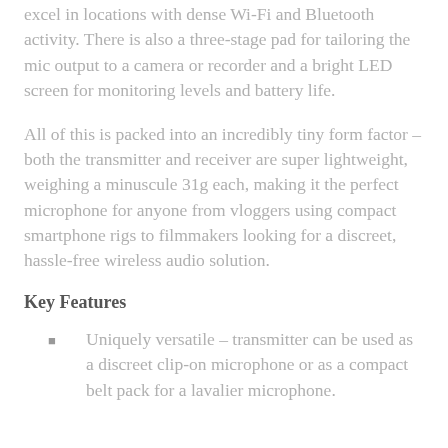excel in locations with dense Wi-Fi and Bluetooth activity. There is also a three-stage pad for tailoring the mic output to a camera or recorder and a bright LED screen for monitoring levels and battery life.
All of this is packed into an incredibly tiny form factor – both the transmitter and receiver are super lightweight, weighing a minuscule 31g each, making it the perfect microphone for anyone from vloggers using compact smartphone rigs to filmmakers looking for a discreet, hassle-free wireless audio solution.
Key Features
Uniquely versatile – transmitter can be used as a discreet clip-on microphone or as a compact belt pack for a lavalier microphone.